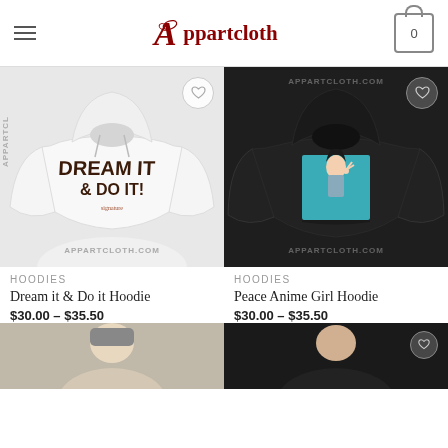Appartcloth
[Figure (photo): White hoodie with 'DREAM IT & DO IT!' text graphic, watermarked with appartcloth.com]
[Figure (photo): Black hoodie with anime girl graphic on teal/blue square, watermarked with appartcloth.com]
HOODIES
Dream it & Do it Hoodie
$30.00 – $35.50
HOODIES
Peace Anime Girl Hoodie
$30.00 – $35.50
[Figure (photo): Partial image of third product, person wearing clothing, bottom of page]
[Figure (photo): Partial image of fourth product, dark colored item, bottom right of page]